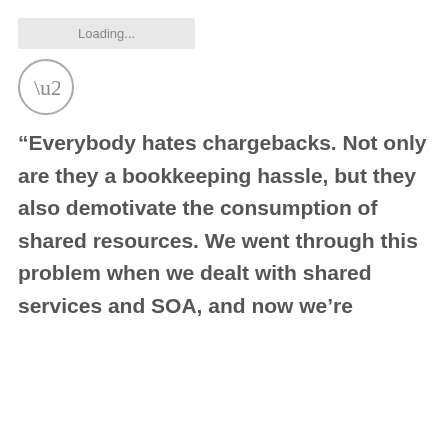[Figure (other): Loading bar UI element with grey background and 'Loading...' text]
[Figure (other): Circular icon with closing quotation marks inside]
“Everybody hates chargebacks. Not only are they a bookkeeping hassle, but they also demotivate the consumption of shared resources. We went through this problem when we dealt with shared services and SOA, and now we’re